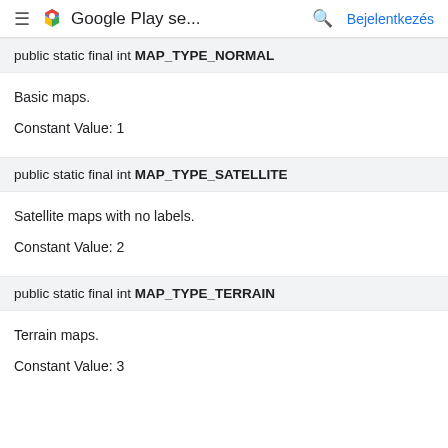Google Play se... Bejelentkezés
public static final int MAP_TYPE_NORMAL
Basic maps.
Constant Value: 1
public static final int MAP_TYPE_SATELLITE
Satellite maps with no labels.
Constant Value: 2
public static final int MAP_TYPE_TERRAIN
Terrain maps.
Constant Value: 3